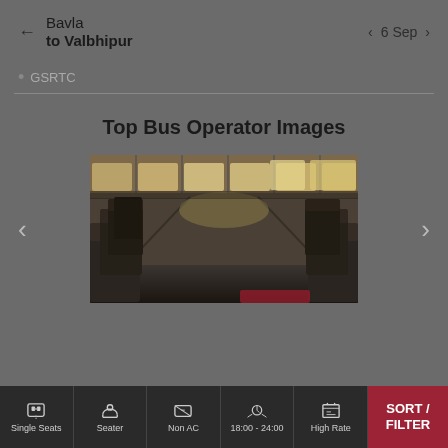Bavla to Valbhipur — 6 Sep
GSRTC
Top Bus Operator Images
[Figure (photo): Interior of a bus showing rows of dark seats, windows along both sides, and overhead luggage racks, viewed from the rear toward the front.]
Single Seats | Seater | Non AC | 18:00 - 24:00 | High Rate | SORT / FILTER